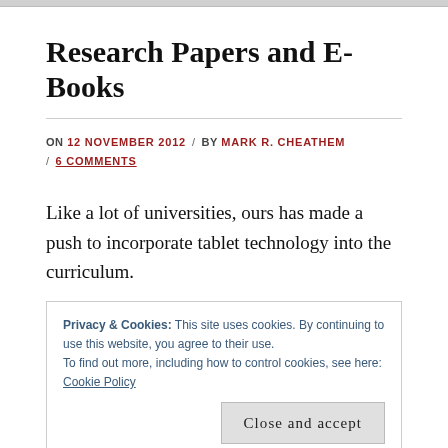Research Papers and E-Books
ON 12 NOVEMBER 2012 / BY MARK R. CHEATHEM / 6 COMMENTS
Like a lot of universities, ours has made a push to incorporate tablet technology into the curriculum.
Privacy & Cookies: This site uses cookies. By continuing to use this website, you agree to their use.
To find out more, including how to control cookies, see here: Cookie Policy
Close and accept
versions of textbooks at a cheaper cost